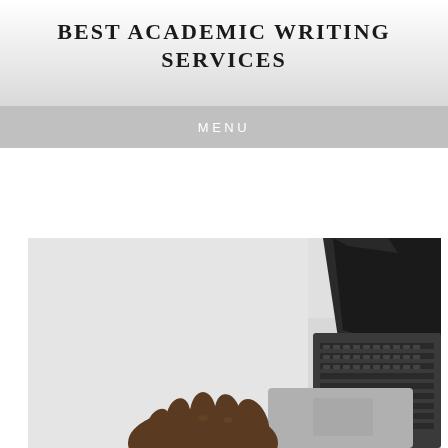BEST ACADEMIC WRITING SERVICES
MENU
[Figure (photo): Overhead view of a person's hand resting on an open laptop keyboard on a light grey desk surface, with a black laptop screen visible in the upper right.]